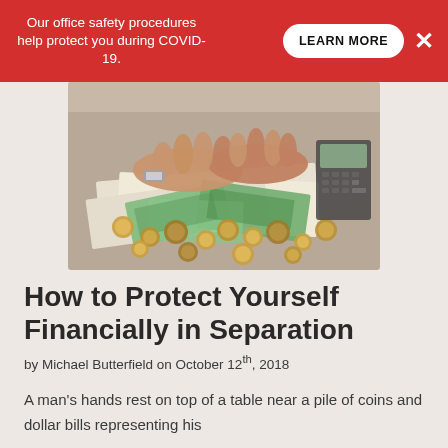Our office safety procedures help protect you during COVID-19. LEARN MORE ×
[Figure (photo): A man's hands resting on top of a table near a pile of coins and dollar bills, with a calculator in the background.]
How to Protect Yourself Financially in Separation
by Michael Butterfield on October 12th, 2018
A man's hands rest on top of a table near a pile of coins and dollar bills representing his